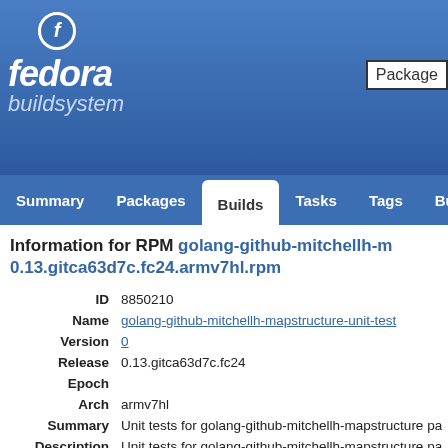[Figure (logo): Fedora buildsystem logo - white fedora text with italic f in circle on blue background]
Fedora buildsystem
Summary | Packages | Builds | Tasks | Tags | Build
Information for RPM golang-github-mitchellh-m 0.13.gitca63d7c.fc24.armv7hl.rpm
| Field | Value |
| --- | --- |
| ID | 8850210 |
| Name | golang-github-mitchellh-mapstructure-unit-test |
| Version | 0 |
| Release | 0.13.gitca63d7c.fc24 |
| Epoch |  |
| Arch | armv7hl |
| Summary | Unit tests for golang-github-mitchellh-mapstructure pa |
| Description | Unit tests for golang-github-mitchellh-mapstructure pa providing packages with github.com/mitchellh/mapstru |
| Build Time | 2017-01-13 16:03:12 GMT |
| Size | 16.76 KB |
| SIGMD5 | 4cf99e6c8ee4ddb5ba4ebb50f3b9dcf3 |